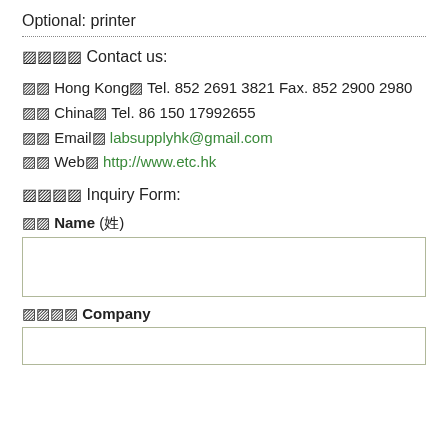Optional: printer
���� Contact us:
�� Hong Kong: Tel. 852 2691 3821 Fax. 852 2900 2980
�� China: Tel. 86 150 17992655
�� Email: labsupplyhk@gmail.com
�� Web: http://www.etc.hk
���� Inquiry Form:
�� Name (姓)
���� Company